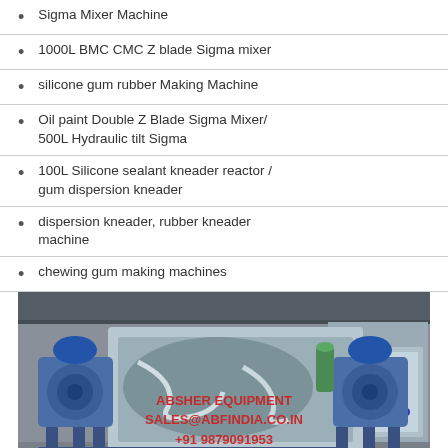Sigma Mixer Machine
1000L BMC CMC Z blade Sigma mixer
silicone gum rubber Making Machine
Oil paint Double Z Blade Sigma Mixer/ 500L Hydraulic tilt Sigma
100L Silicone sealant kneader reactor / gum dispersion kneader
dispersion kneader, rubber kneader machine
chewing gum making machines
[Figure (photo): Industrial sigma mixer / kneader machine, large blue metal industrial mixing equipment with open trough showing z-blades, motor units on both sides, and a control panel on the right. Watermark text: ABSHER EQUIPMENT SALES@ABFINDIA.CO.IN +91 9879091953]